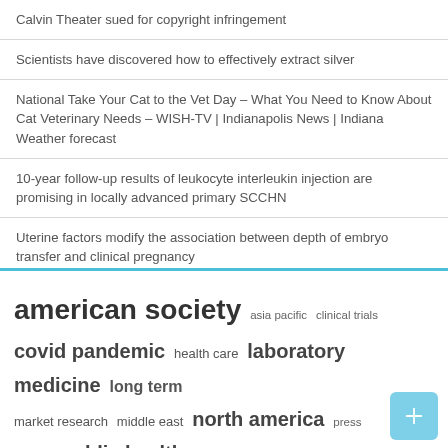Calvin Theater sued for copyright infringement
Scientists have discovered how to effectively extract silver
National Take Your Cat to the Vet Day – What You Need to Know About Cat Veterinary Needs – WISH-TV | Indianapolis News | Indiana Weather forecast
10-year follow-up results of leukocyte interleukin injection are promising in locally advanced primary SCCHN
Uterine factors modify the association between depth of embryo transfer and clinical pregnancy
[Figure (infographic): Tag cloud with medical and health-related terms in varying font sizes: american society (largest), united states (largest), laboratory medicine, long term, north america, public health (large), covid pandemic, health care, middle east, school medicine, market research, press release, veterinary medicine (medium), asia pacific, clinical trials (small)]